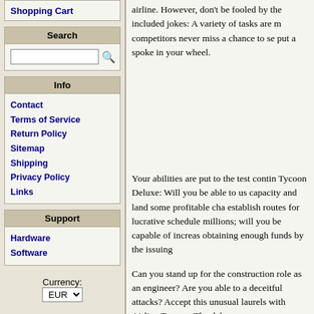Shopping Cart
Search
Info
Contact
Terms of Service
Return Policy
Sitemap
Shipping
Privacy Policy
Links
Support
Hardware
Software
Currency:
airline. However, don't be fooled by the included jokes: A variety of tasks are m competitors never miss a chance to se put a spoke in your wheel.
Your abilities are put to the test contin Tycoon Deluxe: Will you be able to us capacity and land some profitable cha establish routes for lucrative schedule millions; will you be capable of increas obtaining enough funds by the issuing
Can you stand up for the construction role as an engineer? Are you able to a deceitful attacks? Accept this unusual laurels with Airline Tycoon. The deluxe